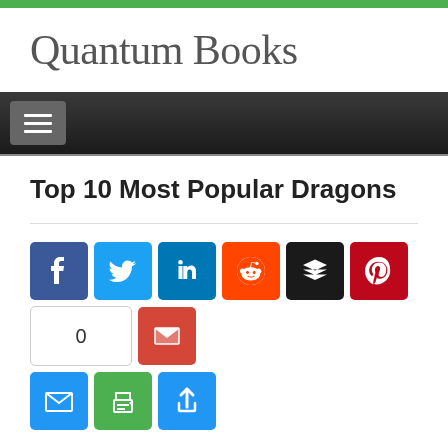Quantum Books
Top 10 Most Popular Dragons
[Figure (infographic): Social media share buttons: Facebook, Twitter, LinkedIn, Reddit, Buffer, Pinterest, share count (0), Gmail, Email, Print, More]
Ah Dragons, these scaled, flying creatures are incredibly popular, and are often times depicted in popular media. Setting aside all those beings of